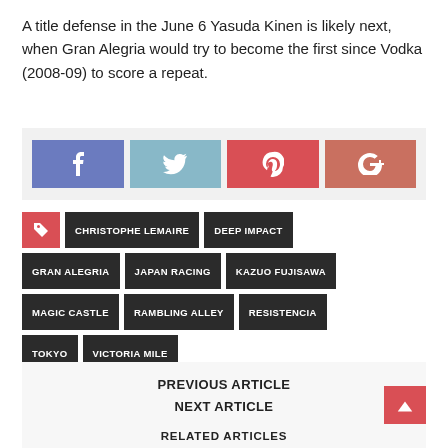A title defense in the June 6 Yasuda Kinen is likely next, when Gran Alegria would try to become the first since Vodka (2008-09) to score a repeat.
[Figure (other): Social sharing buttons: Facebook, Twitter, Pinterest, Google+]
CHRISTOPHE LEMAIRE
DEEP IMPACT
GRAN ALEGRIA
JAPAN RACING
KAZUO FUJISAWA
MAGIC CASTLE
RAMBLING ALLEY
RESISTENCIA
TOKYO
VICTORIA MILE
PREVIOUS ARTICLE
NEXT ARTICLE
RELATED ARTICLES